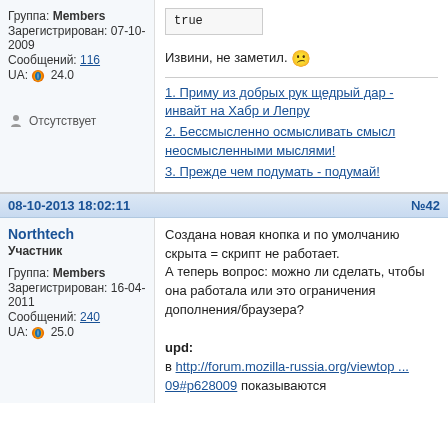Группа: Members
Зарегистрирован: 07-10-2009
Сообщений: 116
UA: 24.0
true
Извини, не заметил. 😕
1. Приму из добрых рук щедрый дар - инвайт на Хабр и Лепру
2. Бессмысленно осмысливать смысл неосмысленными мыслями!
3. Прежде чем подумать - подумай!
Отсутствует
08-10-2013 18:02:11   №42
Northtech
Участник
Группа: Members
Зарегистрирован: 16-04-2011
Сообщений: 240
UA: 25.0
Создана новая кнопка и по умолчанию скрыта = скрипт не работает.
А теперь вопрос: можно ли сделать, чтобы она работала или это ограничения дополнения/браузера?

upd:
в http://forum.mozilla-russia.org/viewtop ... 09#p628009 показываются